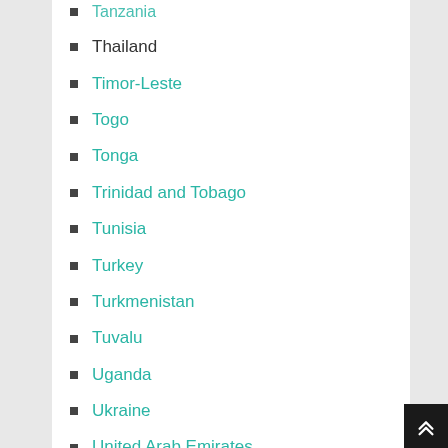Tanzania
Thailand
Timor-Leste
Togo
Tonga
Trinidad and Tobago
Tunisia
Turkey
Turkmenistan
Tuvalu
Uganda
Ukraine
United Arab Emirates